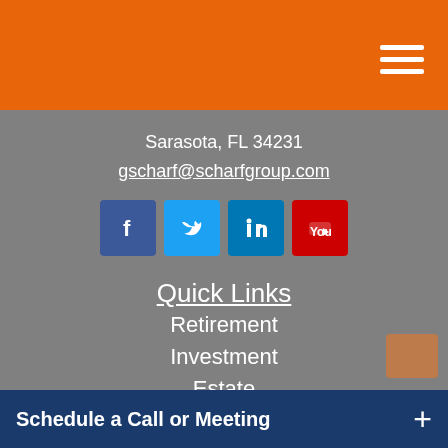Scharf Group - Orange header with hamburger menu
Sarasota, FL 34231
gscharf@scharfgroup.com
[Figure (infographic): Social media icons: Facebook (blue), Twitter (light blue), LinkedIn (blue), YouTube (red)]
Quick Links
Retirement
Investment
Estate
Insurance
Tax
Money
Lifestyle
All Articles
All Videos
All Calculators
All Presentations
Schedule a Call or Meeting +